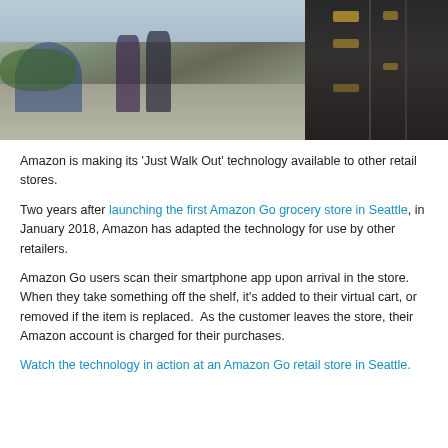[Figure (photo): Street scene showing two people walking on a sidewalk past bicycles and greenery on the left portion, and a dark building exterior with lockers/panels on the right portion.]
Amazon is making its 'Just Walk Out' technology available to other retail stores.
Two years after launching the first Amazon Go grocery store in Seattle, in January 2018, Amazon has adapted the technology for use by other retailers.
Amazon Go users scan their smartphone app upon arrival in the store. When they take something off the shelf, it's added to their virtual cart, or removed if the item is replaced.  As the customer leaves the store, their Amazon account is charged for their purchases.
Watch the technology in action at an Amazon Go retail store in Seattle.